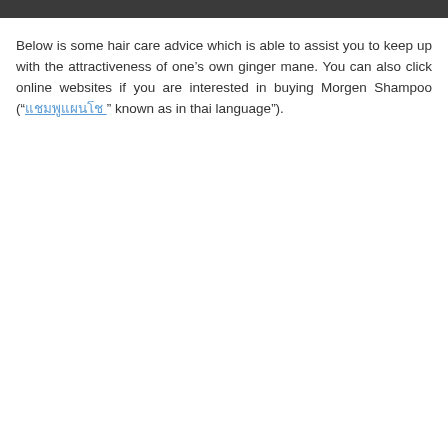Below is some hair care advice which is able to assist you to keep up with the attractiveness of one’s own ginger mane. You can also click online websites if you are interested in buying Morgen Shampoo (“แชมพูแผนโช ” known as in thai language”).